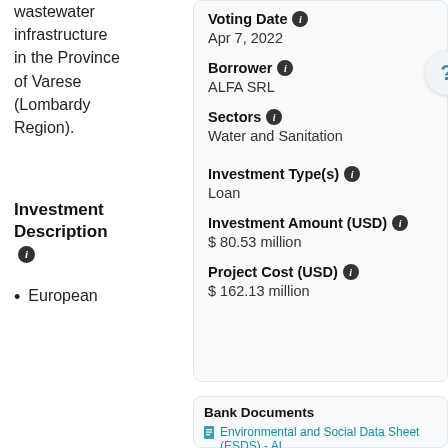wastewater infrastructure in the Province of Varese (Lombardy Region).
Investment Description
European
Voting Date  Apr 7, 2022
Borrower  ALFA SRL
Sectors  Water and Sanitation
Investment Type(s)  Loan
Investment Amount (USD)  $ 80.53 million
Project Cost (USD)  $ 162.13 million
Bank Documents
Environmental and Social Data Sheet (ESDS) - AL... INVESTMENTS